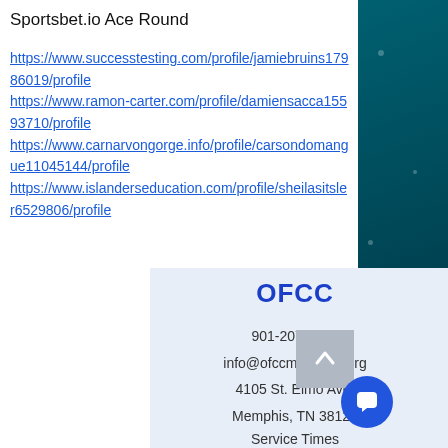Sportsbet.io Ace Round
https://www.successtesting.com/profile/jamiebruins17986019/profile
https://www.ramon-carter.com/profile/damiensacca15593710/profile
https://www.carnarvongorge.info/profile/carsondomangue11045144/profile
https://www.islanderseducation.com/profile/sheilasitsler6529806/profile
OFCC
901-207-1797
info@ofccmemphis.org
4105 St. Elmo Ave.
Memphis, TN 38128
Service Times